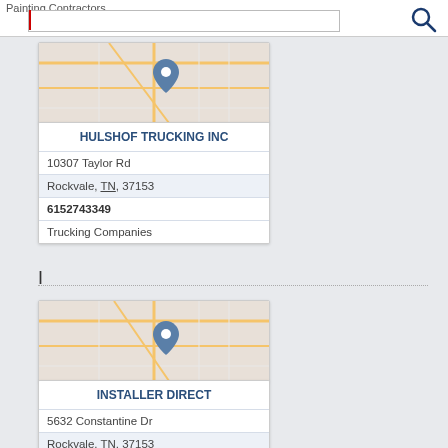Painting Contractors
[Figure (screenshot): Search bar with red text cursor and magnifying glass icon]
[Figure (map): Street map with location pin for Hulshof Trucking Inc in Rockvale, TN]
HULSHOF TRUCKING INC
10307 Taylor Rd
Rockvale, TN, 37153
6152743349
Trucking Companies
I
[Figure (map): Street map with location pin for Installer Direct in Rockvale, TN]
INSTALLER DIRECT
5632 Constantine Dr
Rockvale, TN, 37153
6155966521